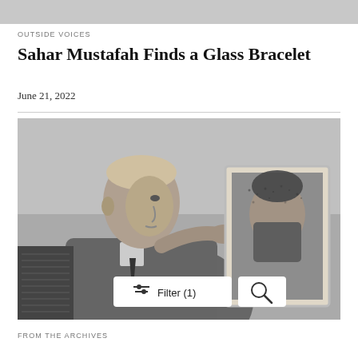[Figure (photo): Gray banner bar at the top of the page]
OUTSIDE VOICES
Sahar Mustafah Finds a Glass Bracelet
June 21, 2022
[Figure (photo): Black and white photograph of an older man in a jacket examining or holding up a framed portrait painting. The painting shows a bearded man's face. UI overlay shows Filter (1) button and search icon button.]
FROM THE ARCHIVES